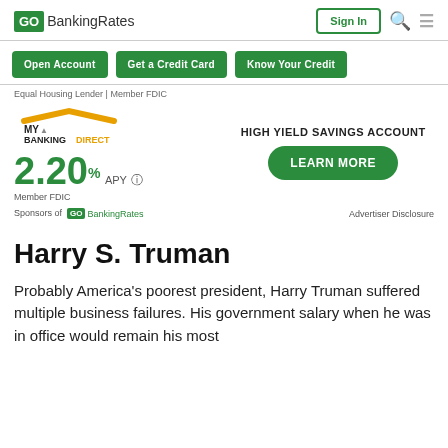GO BankingRates | Sign In
Open Account | Get a Credit Card | Know Your Credit
Equal Housing Lender | Member FDIC
[Figure (other): My Banking Direct advertisement banner showing 2.20% APY High Yield Savings Account with Learn More button]
Sponsors of GO BankingRates   Advertiser Disclosure
Harry S. Truman
Probably America's poorest president, Harry Truman suffered multiple business failures. His government salary when he was in office would remain his most